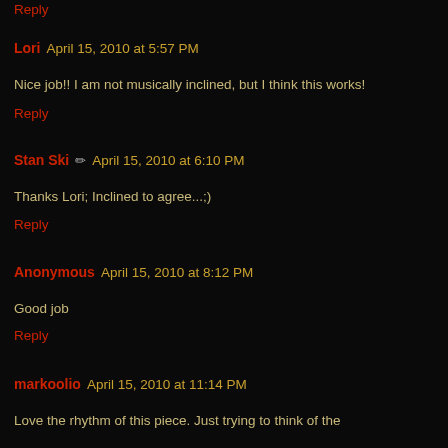Reply
Lori  April 15, 2010 at 5:57 PM
Nice job!! I am not musically inclined, but I think this works!
Reply
Stan Ski  April 15, 2010 at 6:10 PM
Thanks Lori; Inclined to agree...;)
Reply
Anonymous  April 15, 2010 at 8:12 PM
Good job
Reply
markoolio  April 15, 2010 at 11:14 PM
Love the rhythm of this piece. Just trying to think of the